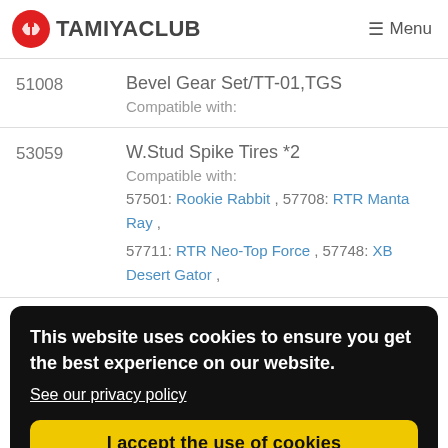TAMIYACLUB — Menu
| Part # | Name / Compatibility |
| --- | --- |
| 51008 | Bevel Gear Set/TT-01,TGS
Compatible with: |
| 53059 | W.Stud Spike Tires *2
Compatible with:
57501: Rookie Rabbit , 57708: RTR Manta Ray ,
57711: RTR Neo-Top Force , 57748: XB Desert Gator , |
This website uses cookies to ensure you get the best experience on our website. See our privacy policy
I accept the use of cookies
57886: RC Buggy Kumamon Version (Green Body)